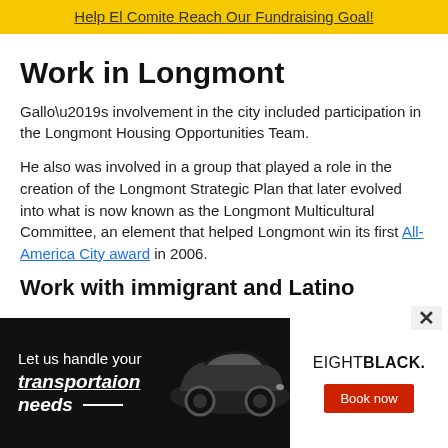Help El Comite Reach Our Fundraising Goal!
Work in Longmont
Gallo’s involvement in the city included participation in the Longmont Housing Opportunities Team.
He also was involved in a group that played a role in the creation of the Longmont Strategic Plan that later evolved into what is now known as the Longmont Multicultural Committee, an element that helped Longmont win its first All-America City award in 2006.
Work with immigrant and Latino
[Figure (infographic): Advertisement banner for EIGHTBLACK transportation service. Black background on left with white text reading 'Let us handle your transportaion needs' with underline, and a photo of a black car. White section on right with 'EIGHTBLACK.' brand name and red 'Book now' button.]